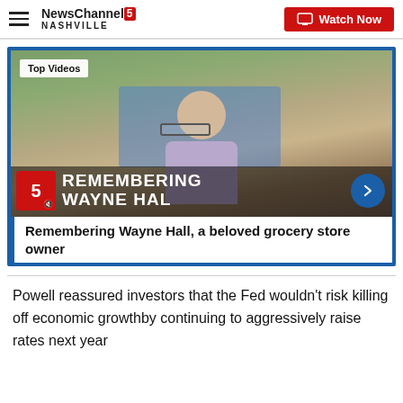NewsChannel 5 Nashville | Watch Now
[Figure (screenshot): Video thumbnail showing an elderly man in a lavender shirt outdoors, with 'Top Videos' badge, overlay text 'REMEMBERING WAYNE HALL', Channel 5 logo, mute icon, and a blue arrow next button]
Remembering Wayne Hall, a beloved grocery store owner
Powell reassured investors that the Fed wouldn't risk killing off economic growthby continuing to aggressively raise rates next year